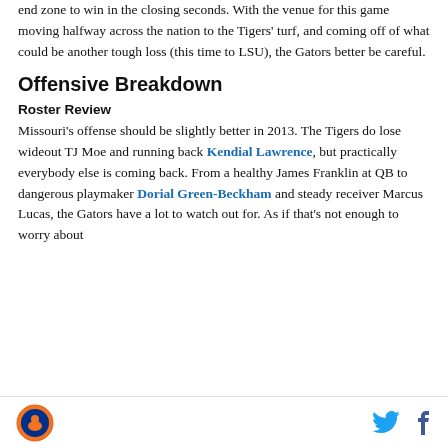end zone to win in the closing seconds. With the venue for this game moving halfway across the nation to the Tigers' turf, and coming off of what could be another tough loss (this time to LSU), the Gators better be careful.
Offensive Breakdown
Roster Review
Missouri's offense should be slightly better in 2013. The Tigers do lose wideout TJ Moe and running back Kendial Lawrence, but practically everybody else is coming back. From a healthy James Franklin at QB to dangerous playmaker Dorial Green-Beckham and steady receiver Marcus Lucas, the Gators have a lot to watch out for. As if that's not enough to worry about